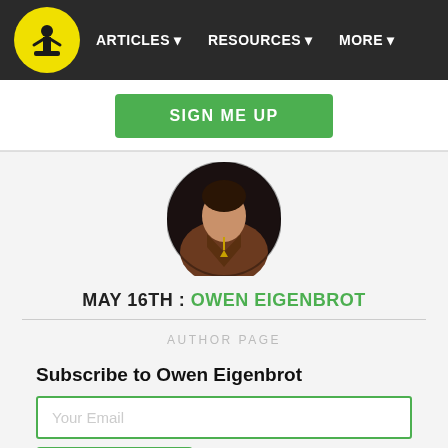ARTICLES  RESOURCES  MORE
SIGN ME UP
[Figure (photo): Circular avatar photo of a person wearing a brown jacket with a pendant necklace, dark background]
MAY 16TH : OWEN EIGENBROT
AUTHOR PAGE
Subscribe to Owen Eigenbrot
Your Email
SUBSCRIBE »